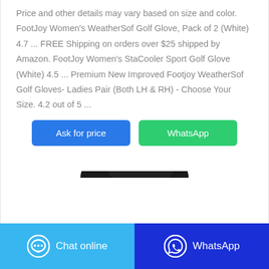Price and other details may vary based on size and color. FootJoy Women's WeatherSof Golf Glove, Pack of 2 (White) 4.7 ... FREE Shipping on orders over $25 shipped by Amazon. FootJoy Women's StaCooler Sport Golf Glove (White) 4.5 ... Premium New Improved Footjoy WeatherSof Golf Gloves- Ladies Pair (Both LH & RH) - Choose Your Size. 4.2 out of 5 ...
[Figure (other): Two buttons: 'Ask for price' (blue) and 'WhatsApp' (green)]
[Figure (photo): A black golf glove shown from the palm side against a white background, partially cropped at the bottom]
Chat online   WhatsApp